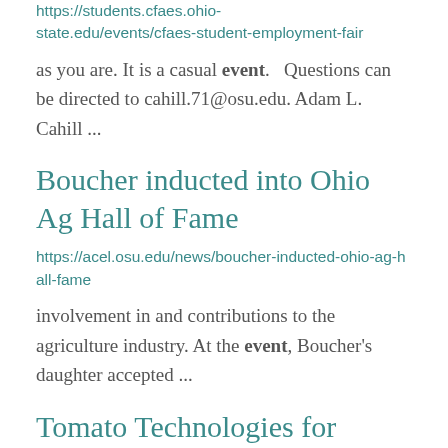https://students.cfaes.ohio-state.edu/events/cfaes-student-employment-fair
as you are. It is a casual event.  Questions can be directed to cahill.71@osu.edu. Adam L. Cahill ...
Boucher inducted into Ohio Ag Hall of Fame
https://acel.osu.edu/news/boucher-inducted-ohio-ag-hall-fame
involvement in and contributions to the agriculture industry. At the event, Boucher's daughter accepted ...
Tomato Technologies for Tomorrow